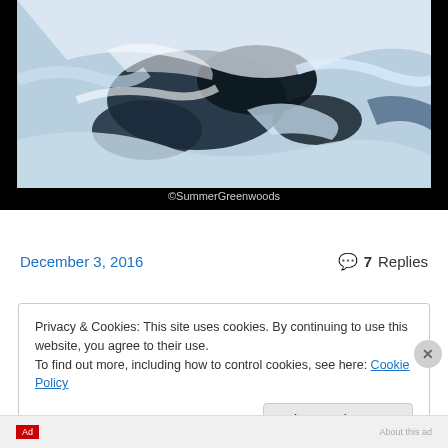[Figure (photo): Aerial or abstract landscape photograph showing blue and white icy/snowy terrain with dark patches, appears to be an overhead view of glaciers or ice fields. Copyright watermark reads ©SummerGreenwoods.]
©SummerGreenwoods
December 3, 2016
7 Replies
Privacy & Cookies: This site uses cookies. By continuing to use this website, you agree to their use.
To find out more, including how to control cookies, see here: Cookie Policy
Close and accept